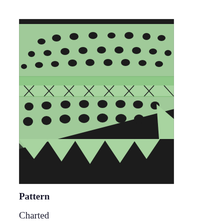[Figure (photo): Close-up photograph of a light green lace knitting pattern on a dark black background, showing intricate openwork stitches with decorative pointed edging at the bottom.]
Pattern
Charted